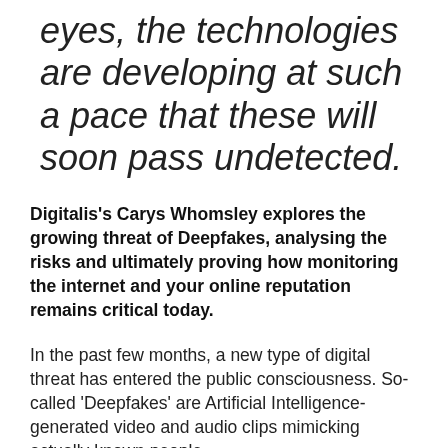eyes, the technologies are developing at such a pace that these will soon pass undetected.
Digitalis's Carys Whomsley explores the growing threat of Deepfakes, analysing the risks and ultimately proving how monitoring the internet and your online reputation remains critical today.
In the past few months, a new type of digital threat has entered the public consciousness. So-called 'Deepfakes' are Artificial Intelligence-generated video and audio clips mimicking actually known people.